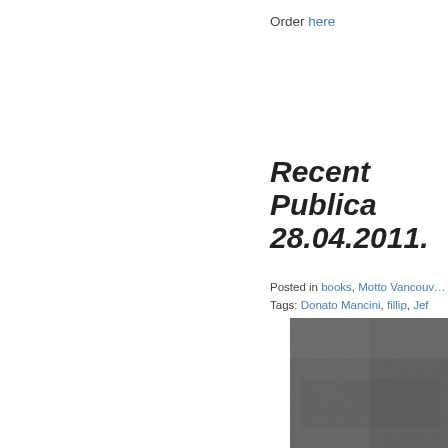Order here
Recent Publications 28.04.2011.
Posted in books, Motto Vancouver
Tags: Donato Mancini, fillip, Jef
[Figure (photo): Dark grey textured surface, possibly a book cover]